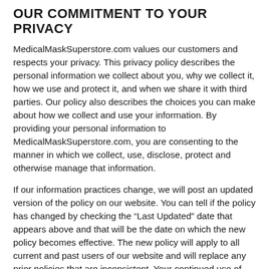OUR COMMITMENT TO YOUR PRIVACY
MedicalMaskSuperstore.com values our customers and respects your privacy. This privacy policy describes the personal information we collect about you, why we collect it, how we use and protect it, and when we share it with third parties. Our policy also describes the choices you can make about how we collect and use your information. By providing your personal information to MedicalMaskSuperstore.com, you are consenting to the manner in which we collect, use, disclose, protect and otherwise manage that information.
If our information practices change, we will post an updated version of the policy on our website. You can tell if the policy has changed by checking the “Last Updated” date that appears above and that will be the date on which the new policy becomes effective. The new policy will apply to all current and past users of our website and will replace any prior policies that are inconsistent. Your continued use of our website constitutes your consent to be bound by the revised